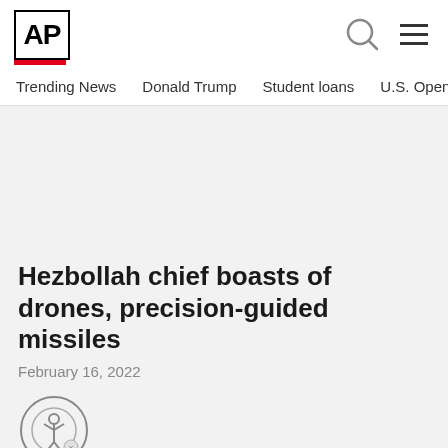AP
Trending News  Donald Trump  Student loans  U.S. Open Tenn
Hezbollah chief boasts of drones, precision-guided missiles
February 16, 2022